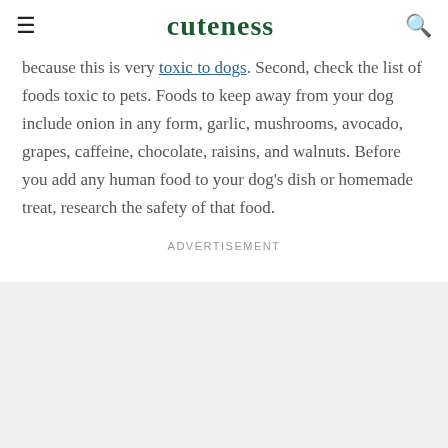cuteness
because this is very toxic to dogs. Second, check the list of foods toxic to pets. Foods to keep away from your dog include onion in any form, garlic, mushrooms, avocado, grapes, caffeine, chocolate, raisins, and walnuts. Before you add any human food to your dog's dish or homemade treat, research the safety of that food.
Advertisement